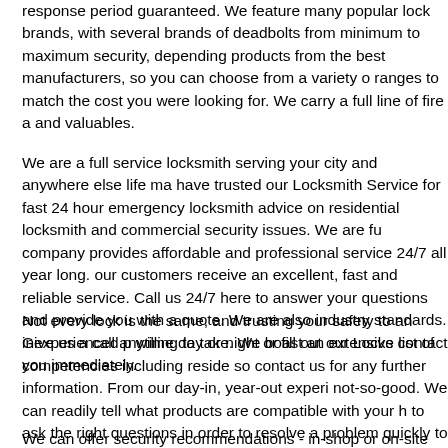response period guaranteed. We feature many popular lock brands, with several brands of deadbolts from minimum to maximum security, depending products from the best manufacturers, so you can choose from a variety of ranges to match the cost you were looking for. We carry a full line of fire a and valuables.
We are a full service locksmith serving your city and anywhere else life ma have trusted our Locksmith Service for fast 24 hour emergency locksmith advice on residential locksmith and commercial security issues. We are fu company provides affordable and professional service 24/7 all year long. our customers receive an excellent, fast and reliable service. Call us 24/7 here to answer your questions and provide you with a quote. We are also industry standards. Give us a call anytime day or night or fill out our Locks contact you immediately.
Not every lock is the same, and trusting your safety to an inexperienced p willing to take. We boast an extensive list of competencies including reside so contact us for any further information. From our day-in, year-out experi not-so-good. We can readily tell what products are compatible with your h to ask the right questions in order to resolve a problem quickly to meet yo recommendations. Rekeying can come in handy and is something you sh new key or customize.
We can offer security recommendations - in-shop or on-site consultation, s